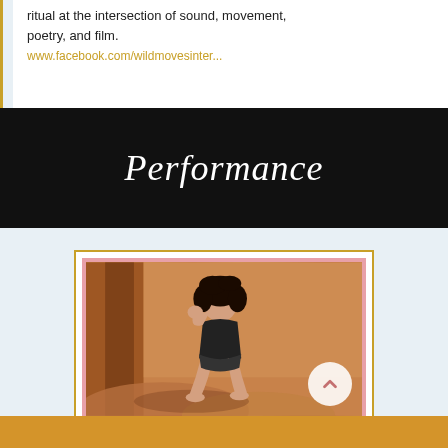ritual at the intersection of sound, movement, poetry, and film.
www.facebook.com/wildmovesinter...
Performance
[Figure (photo): A woman with dark curly hair wearing a black outfit sits on rocks against a sandstone/desert rock wall background. She is posing with her hand near her face. The photo has a pink border frame inside a gold outer border. A white circular scroll-up button overlays the bottom right of the image.]
[Figure (other): Gold/amber colored footer bar at bottom of page]